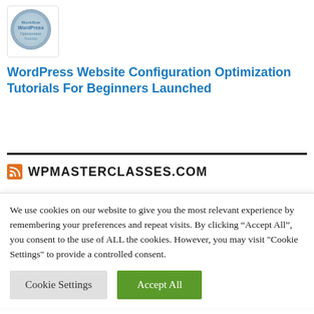[Figure (logo): WordPress circular logo/stamp in blue-grey tones]
WordPress Website Configuration Optimization Tutorials For Beginners Launched
WPMASTERCLASSES.COM
We use cookies on our website to give you the most relevant experience by remembering your preferences and repeat visits. By clicking “Accept All”, you consent to the use of ALL the cookies. However, you may visit "Cookie Settings" to provide a controlled consent.